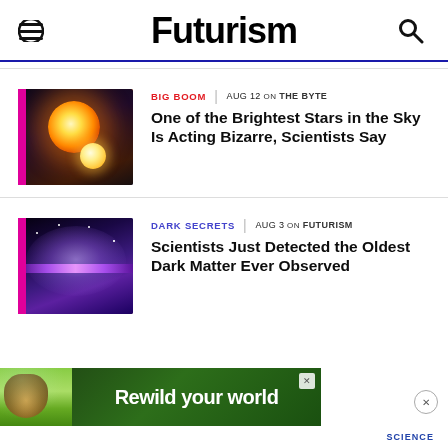Futurism
[Figure (photo): Star / astronomical image showing a bright orange/red star with orange glow against dark background]
BIG BOOM | AUG 12 on THE BYTE
One of the Brightest Stars in the Sky Is Acting Bizarre, Scientists Say
[Figure (photo): Dark matter / galaxy cluster image showing purple and blue cosmic structure against dark background]
DARK SECRETS | AUG 3 on FUTURISM
Scientists Just Detected the Oldest Dark Matter Ever Observed
[Figure (photo): Advertisement banner: Rewild your world, showing a lizard/iguana on green background]
SCIENCE